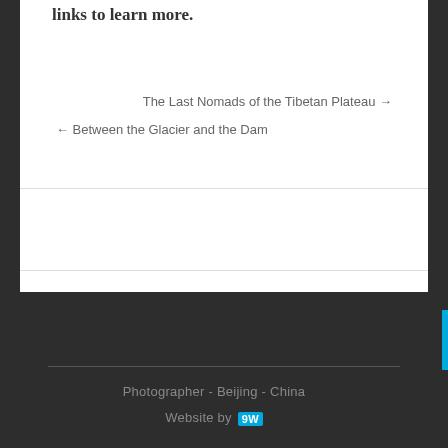links to learn more.
The Last Nomads of the Tibetan Plateau →
← Between the Glacier and the Dam
Photographer - Beijing - China
Website by 9W